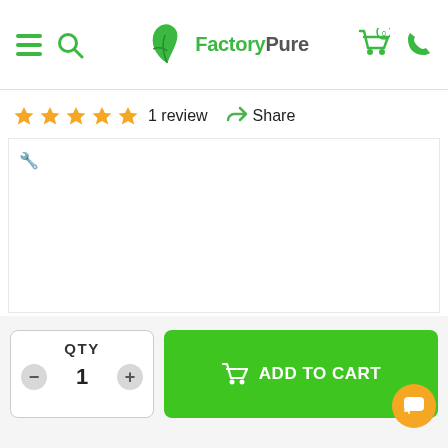FactoryPure
★★★★★ 1 review  Share
[Figure (screenshot): White product image area with a small faucet/tap icon in the upper left]
QTY 1
ADD TO CART